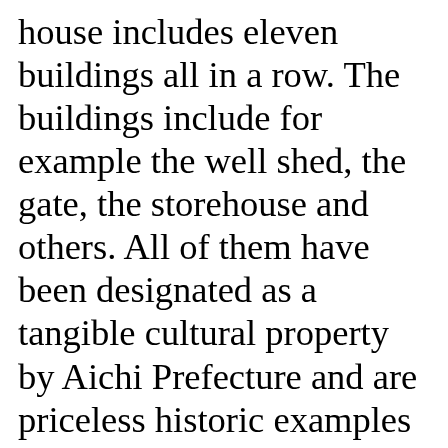house includes eleven buildings all in a row. The buildings include for example the well shed, the gate, the storehouse and others. All of them have been designated as a tangible cultural property by Aichi Prefecture and are priceless historic examples of a typical wealthy wholesaler's residence in Arimatsu town. The main wooden house has two stories and a gabled tile roof with Udatsu (Firewalls on the roof) construction on both ends of the roof. Wooden latticed windows are attached the front of the first floor and the second flo